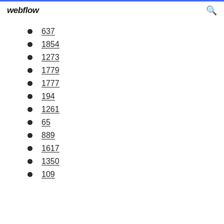webflow
637
1854
1273
1779
1777
194
1261
65
889
1617
1350
109